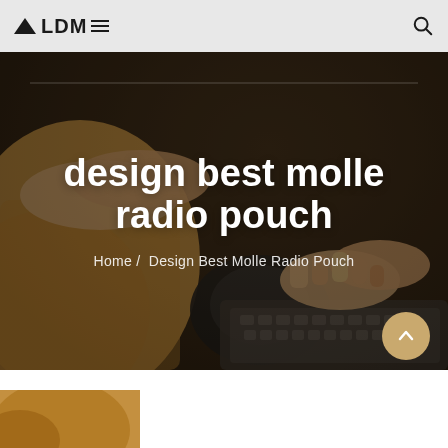ALDM≡
[Figure (photo): Person typing on a laptop keyboard, wearing a knit sweater, with a camera beside the keyboard. Dark warm-toned photo used as hero background.]
design best molle radio pouch
Home / Design Best Molle Radio Pouch